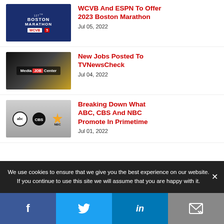WCVB And ESPN To Offer 2023 Boston Marathon
Jul 05, 2022
New Jobs Posted To TVNewsCheck
Jul 04, 2022
Breaking Down What ABC, CBS And NBC Promote In Primetime
Jul 01, 2022
We use cookies to ensure that we give you the best experience on our website. If you continue to use this site we will assume that you are happy with it.